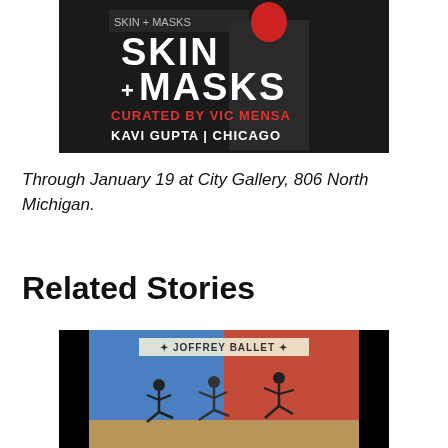[Figure (photo): Exhibition poster for 'Skin + Masks' curated by Vic Mensa at Kavi Gupta Chicago, showing a figure in a red mask and black suit against a dark background.]
Through January 19 at City Gallery, 806 North Michigan.
Related Stories
[Figure (photo): Joffrey Ballet performance photo showing dancers on stage with colorful backdrop.]